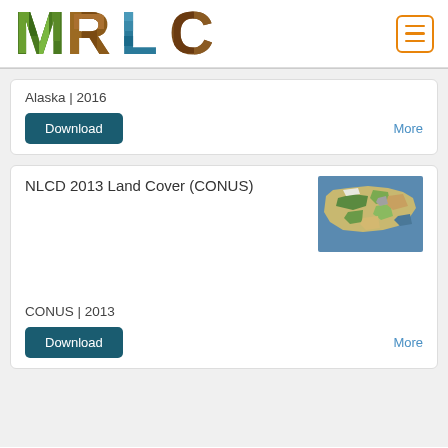[Figure (logo): MRLC logo with nature-themed letter fills (M=green trees, R=brown wood, L=blue water, C=brown earth)]
Alaska | 2016
Download
More
NLCD 2013 Land Cover (CONUS)
[Figure (map): Map thumbnail of contiguous United States showing NLCD 2013 land cover data with green, tan, and blue colors]
CONUS | 2013
Download
More